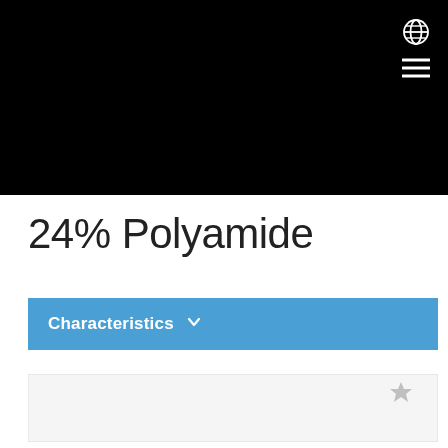[Figure (screenshot): Black header area with white globe icon and hamburger menu icon in top-right corner]
24% Polyamide
Characteristics
[Figure (other): Light grey card area with a grey star icon in the top-right corner]